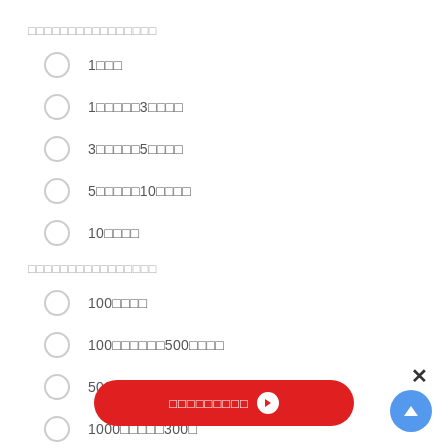□□□□□□□□□□□□□□□□
1□□□
1□□□□□3□□□□
3□□□□□5□□□□
5□□□□□10□□□□
10□□□□
□□□□□□□□□□□□□□□□
100□□□□
100□□□□□□500□□□□
500□□□□□□1000□□□□
1000□□□□□300□